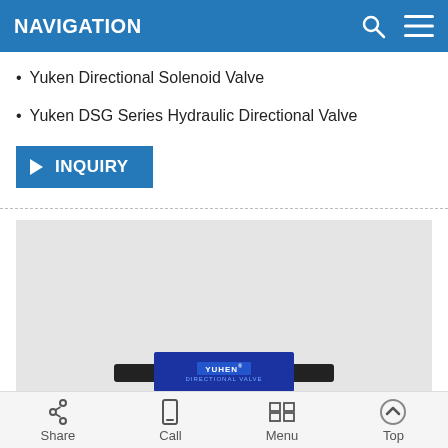NAVIGATION
Yuken Directional Solenoid Valve
Yuken DSG Series Hydraulic Directional Valve
[Figure (other): Blue INQUIRY button with right-pointing arrow]
[Figure (photo): Yuken Directional Valve product photo on light gray background, showing valve body with Yuken brand label and black connectors on each side]
Share  Call  Menu  Top